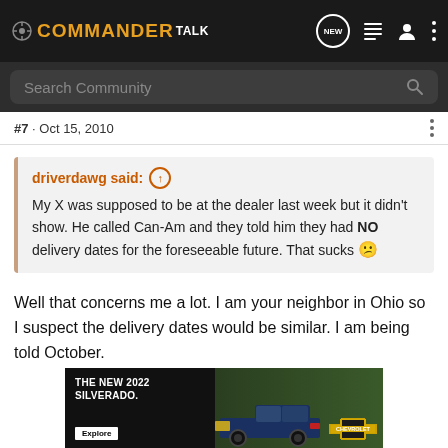COMMANDER TALK
Search Community
#7 · Oct 15, 2010
driverdawg said: ↑
My X was supposed to be at the dealer last week but it didn't show. He called Can-Am and they told him they had NO delivery dates for the foreseeable future. That sucks 😕
Well that concerns me a lot. I am your neighbor in Ohio so I suspect the delivery dates would be similar. I am being told October.
[Figure (photo): Chevrolet advertisement banner for The New 2022 Silverado with an Explore button and a dark blue truck on a green background with the Chevrolet logo]